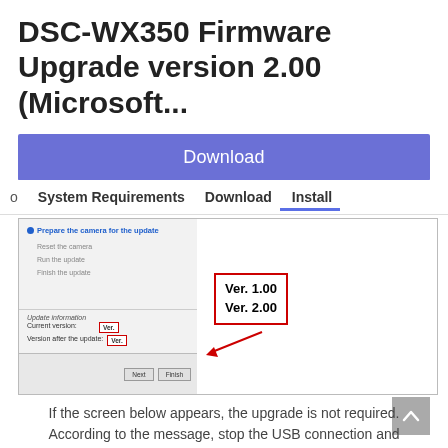DSC-WX350 Firmware Upgrade version 2.00 (Microsoft...
[Figure (screenshot): Download button (purple/blue background) with white 'Download' text]
o   System Requirements   Download   Install
[Figure (screenshot): Screenshot of firmware update dialog showing steps: Prepare the camera for the update, Reset the camera, Run the update, Finish the update. Update information section shows Current version: Ver. 1.00 and Version after the update: Ver. 2.00, with a callout box highlighting Ver. 1.00 and Ver. 2.00 in red border. Next and Finish buttons visible at bottom right.]
If the screen below appears, the upgrade is not required. According to the message, stop the USB connection and